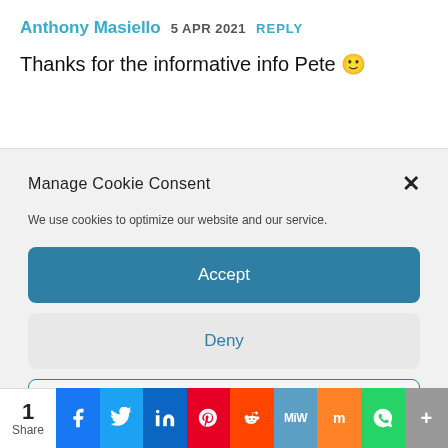Anthony Masiello 5 APR 2021 REPLY
Thanks for the informative info Pete 🙂
Manage Cookie Consent
We use cookies to optimize our website and our service.
Accept
Deny
Preferences
1 Share | Facebook | Twitter | LinkedIn | Pinterest | Reddit | MeWe | Mix | WhatsApp | More